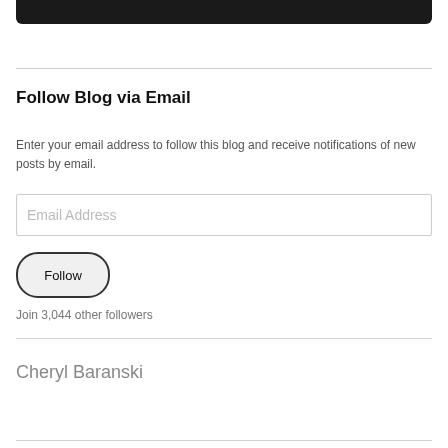[Figure (other): Dark black/charcoal rounded rectangle bar at top of page]
Follow Blog via Email
Enter your email address to follow this blog and receive notifications of new posts by email.
Email Address (input field)
Follow (button)
Join 3,044 other followers
Cheryl Baranski